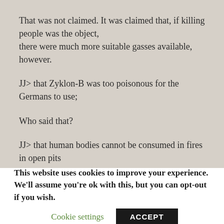That was not claimed. It was claimed that, if killing people was the object, there were much more suitable gasses available, however.
JJ> that Zyklon-B was too poisonous for the Germans to use;
Who said that?
JJ> that human bodies cannot be consumed in fires in open pits
This website uses cookies to improve your experience. We'll assume you're ok with this, but you can opt-out if you wish.
Cookie settings
ACCEPT